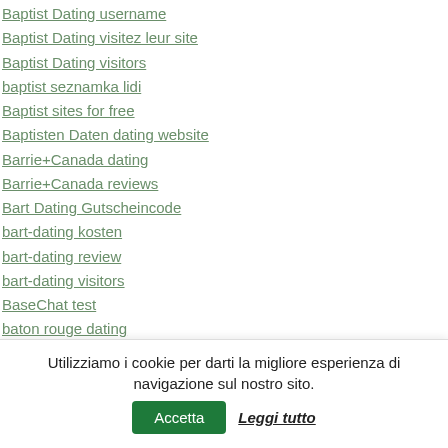Baptist Dating username
Baptist Dating visitez leur site
Baptist Dating visitors
baptist seznamka lidi
Baptist sites for free
Baptisten Daten dating website
Barrie+Canada dating
Barrie+Canada reviews
Bart Dating Gutscheincode
bart-dating kosten
bart-dating review
bart-dating visitors
BaseChat test
baton rouge dating
baton rouge eros escort
baton rouge escort service here
Utilizziamo i cookie per darti la migliore esperienza di navigazione sul nostro sito. Accetta Leggi tutto